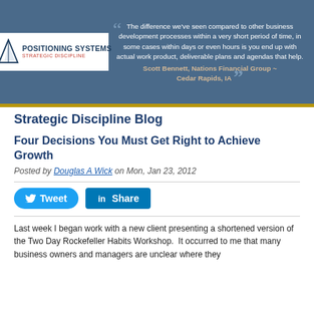[Figure (logo): Positioning Systems Strategic Discipline logo with triangle graphic]
The difference we've seen compared to other business development processes within a very short period of time, in some cases within days or even hours is you end up with actual work product, deliverable plans and agendas that help. Scott Bennett, Nations Financial Group ~ Cedar Rapids, IA
Strategic Discipline Blog
Four Decisions You Must Get Right to Achieve Growth
Posted by Douglas A Wick on Mon, Jan 23, 2012
[Figure (other): Tweet and Share social media buttons]
Last week I began work with a new client presenting a shortened version of the Two Day Rockefeller Habits Workshop.  It occurred to me that many business owners and managers are unclear where they need to focus their attention...